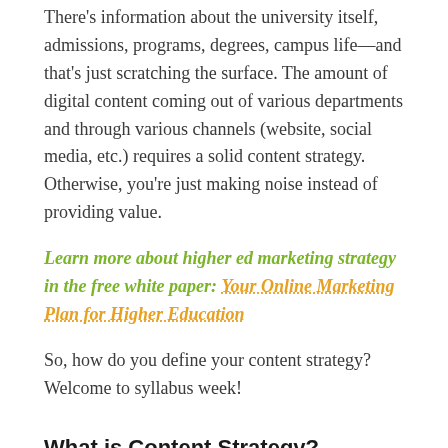There's information about the university itself, admissions, programs, degrees, campus life—and that's just scratching the surface. The amount of digital content coming out of various departments and through various channels (website, social media, etc.) requires a solid content strategy. Otherwise, you're just making noise instead of providing value.
Learn more about higher ed marketing strategy in the free white paper: Your Online Marketing Plan for Higher Education
So, how do you define your content strategy? Welcome to syllabus week!
What is Content Strategy?
Content strategy is a guide. It's how you plan for and produce your message. Then, it's how you evaluate and